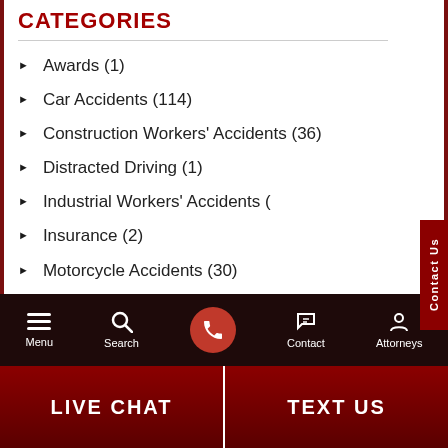CATEGORIES
Awards (1)
Car Accidents (114)
Construction Workers' Accidents (36)
Distracted Driving (1)
Industrial Workers' Accidents (
Insurance (2)
Motorcycle Accidents (30)
New Laws (1)
Pedestrian Accidents (43)
[Figure (screenshot): Online Agent chat widget with red speech bubble and avatar of a woman with red hair]
Menu | Search | [Call button] | Contact | Attorneys | LIVE CHAT | TEXT US